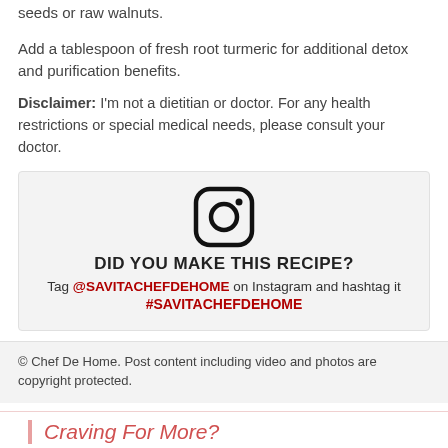seeds or raw walnuts.
Add a tablespoon of fresh root turmeric for additional detox and purification benefits.
Disclaimer: I'm not a dietitian or doctor. For any health restrictions or special medical needs, please consult your doctor.
[Figure (other): Instagram promotional box with camera icon, text 'DID YOU MAKE THIS RECIPE? Tag @SAVITACHEFDEHOME on Instagram and hashtag it #SAVITACHEFDEHOME']
© Chef De Home. Post content including video and photos are copyright protected.
Craving For More?